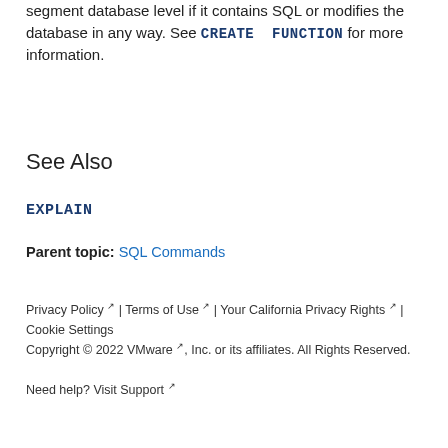segment database level if it contains SQL or modifies the database in any way. See CREATE FUNCTION for more information.
See Also
EXPLAIN
Parent topic: SQL Commands
Privacy Policy | Terms of Use | Your California Privacy Rights | Cookie Settings
Copyright © 2022 VMware, Inc. or its affiliates. All Rights Reserved.
Need help? Visit Support